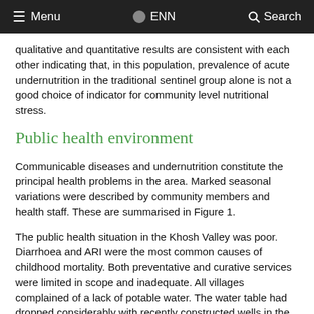Menu  ENN  Search
qualitative and quantitative results are consistent with each other indicating that, in this population, prevalence of acute undernutrition in the traditional sentinel group alone is not a good choice of indicator for community level nutritional stress.
Public health environment
Communicable diseases and undernutrition constitute the principal health problems in the area. Marked seasonal variations were described by community members and health staff. These are summarised in Figure 1.
The public health situation in the Khosh Valley was poor. Diarrhoea and ARI were the most common causes of childhood mortality. Both preventative and curative services were limited in scope and inadequate. All villages complained of a lack of potable water. The water table had dropped considerably with recently constructed wells in the middle of the valley now drying up. Spring discharges were approximately half their usual levels. This had an effect on the quantity of water available for irrigation as well as for drinking and hygiene purposes. The lack of potable water was often cited as the